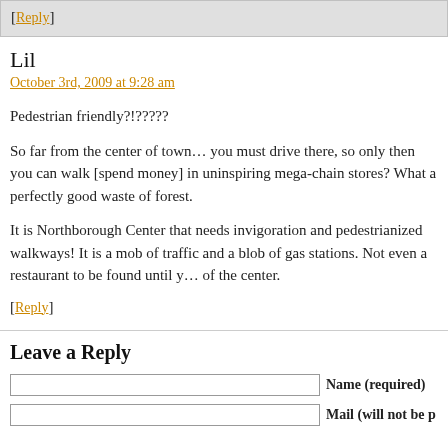[Reply]
Lil
October 3rd, 2009 at 9:28 am
Pedestrian friendly?!?????
So far from the center of town… you must drive there, so only then you can walk [spend money] in uninspiring mega-chain stores? What a perfectly good waste of forest.
It is Northborough Center that needs invigoration and pedestrianized walkways! It is a mob of traffic and a blob of gas stations. Not even a restaurant to be found until you are out of the center.
[Reply]
Leave a Reply
Name (required)
Mail (will not be p